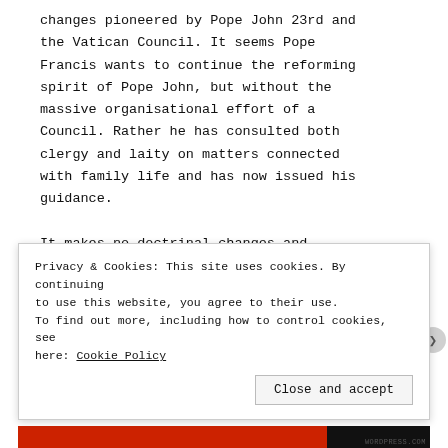changes pioneered by Pope John 23rd and the Vatican Council. It seems Pope Francis wants to continue the reforming spirit of Pope John, but without the massive organisational effort of a Council. Rather he has consulted both clergy and laity on matters connected with family life and has now issued his guidance.

It makes no doctrinal changes and requires no obedience to changes in
Privacy & Cookies: This site uses cookies. By continuing to use this website, you agree to their use. To find out more, including how to control cookies, see here: Cookie Policy
Close and accept